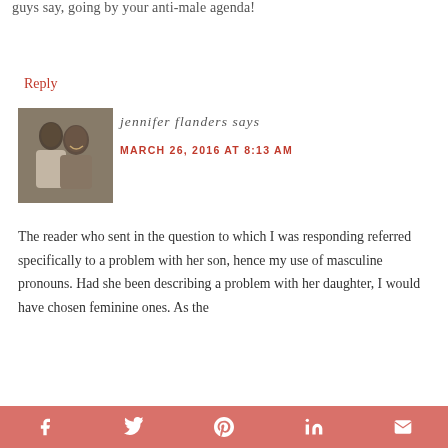guys say, going by your anti-male agenda!
Reply
[Figure (photo): A couple, a man kissing a woman on the cheek, both smiling, sepia/black-and-white toned photo]
jennifer flanders says
MARCH 26, 2016 AT 8:13 AM
The reader who sent in the question to which I was responding referred specifically to a problem with her son, hence my use of masculine pronouns. Had she been describing a problem with her daughter, I would have chosen feminine ones. As the
[Figure (infographic): Social sharing bar with icons for Facebook, Twitter, Pinterest, LinkedIn, and Email on a salmon/coral background]